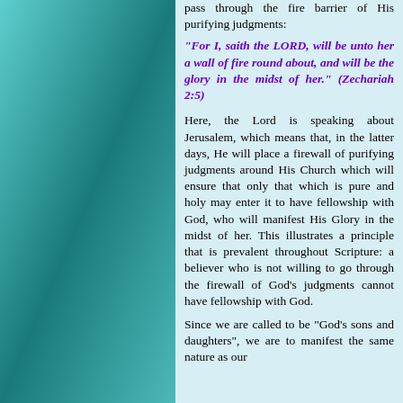pass through the fire barrier of His purifying judgments:
"For I, saith the LORD, will be unto her a wall of fire round about, and will be the glory in the midst of her." (Zechariah 2:5)
Here, the Lord is speaking about Jerusalem, which means that, in the latter days, He will place a firewall of purifying judgments around His Church which will ensure that only that which is pure and holy may enter it to have fellowship with God, who will manifest His Glory in the midst of her. This illustrates a principle that is prevalent throughout Scripture: a believer who is not willing to go through the firewall of God's judgments cannot have fellowship with God.
Since we are called to be "God's sons and daughters", we are to manifest the same nature as our